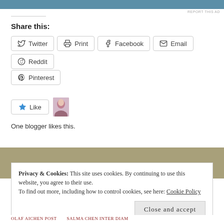[Figure (screenshot): Top banner image (partial, cropped at top)]
REPORT THIS AD
Share this:
Twitter
Print
Facebook
Email
Reddit
Pinterest
[Figure (screenshot): Like button widget with star icon and avatar photo of a woman]
One blogger likes this.
Privacy & Cookies: This site uses cookies. By continuing to use this website, you agree to their use. To find out more, including how to control cookies, see here: Cookie Policy
Close and accept